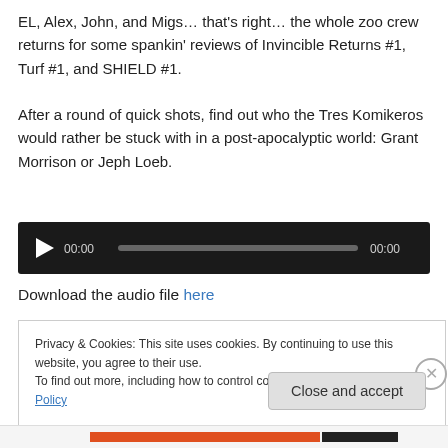EL, Alex, John, and Migs… that's right… the whole zoo crew returns for some spankin' reviews of Invincible Returns #1, Turf #1, and SHIELD #1.

After a round of quick shots, find out who the Tres Komikeros would rather be stuck with in a post-apocalyptic world: Grant Morrison or Jeph Loeb.
[Figure (other): Audio player with dark background, play button (triangle), timestamp 00:00, progress bar (gray), and end time 00:00]
Download the audio file here
Privacy & Cookies: This site uses cookies. By continuing to use this website, you agree to their use.
To find out more, including how to control cookies, see here: Cookie Policy